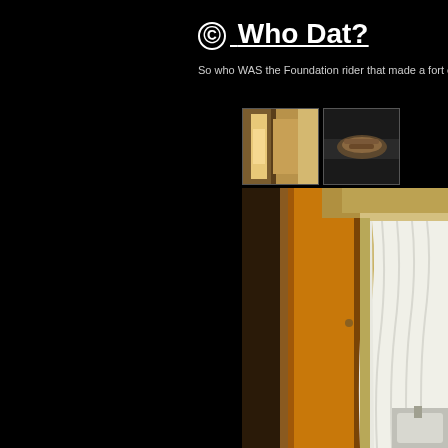© Who Dat?
So who WAS the Foundation rider that made a fort o
[Figure (photo): Two small thumbnail photos side by side: left thumbnail shows a hallway/door scene with warm brown tones, right thumbnail shows a dark scene with a hand visible]
[Figure (photo): Main large photo of a hotel room showing an orange/brown door with wood frame on the left and white curtain/drape on the right, with yellow-beige walls and a sink partially visible at bottom right]